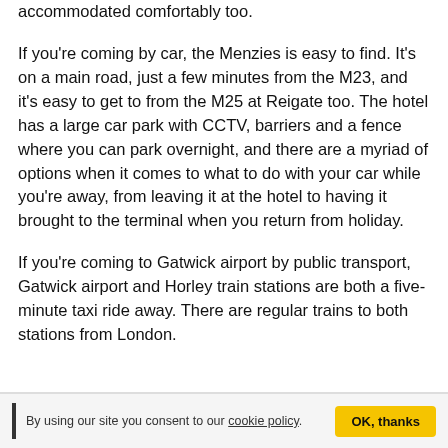accommodated comfortably too.
If you're coming by car, the Menzies is easy to find. It's on a main road, just a few minutes from the M23, and it's easy to get to from the M25 at Reigate too. The hotel has a large car park with CCTV, barriers and a fence where you can park overnight, and there are a myriad of options when it comes to what to do with your car while you're away, from leaving it at the hotel to having it brought to the terminal when you return from holiday.
If you're coming to Gatwick airport by public transport, Gatwick airport and Horley train stations are both a five-minute taxi ride away. There are regular trains to both stations from London.
By using our site you consent to our cookie policy. OK, thanks